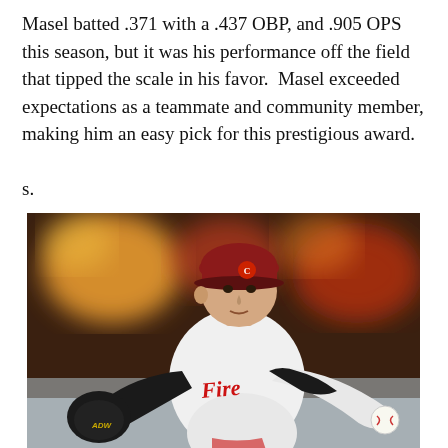Masel batted .371 with a .437 OBP, and .905 OPS this season, but it was his performance off the field that tipped the scale in his favor. Masel exceeded expectations as a teammate and community member, making him an easy pick for this prestigious award.
s.
[Figure (photo): A baseball pitcher in a white uniform with red cursive script reading 'Fire' on the chest, wearing a red cap with a cardinal logo, in mid-pitch delivery holding a baseball, with a black glove on the other hand. Background is blurred orange and red stadium lights.]